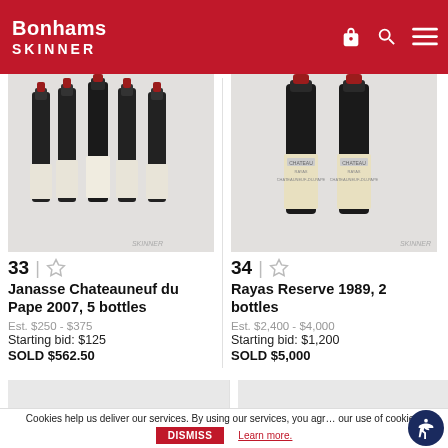Bonhams SKINNER
[Figure (photo): Five bottles of Janasse Chateauneuf du Pape 2007 wine standing together on white background, with SKINNER watermark]
33 | ☆
Janasse Chateauneuf du Pape 2007, 5 bottles
Est. $250 - $375
Starting bid: $125
SOLD $562.50
[Figure (photo): Two bottles of Rayas Reserve 1989 wine on white background, with SKINNER watermark]
34 | ☆
Rayas Reserve 1989, 2 bottles
Est. $2,400 - $4,000
Starting bid: $1,200
SOLD $5,000
Cookies help us deliver our services. By using our services, you agree to our use of cookies.
DISMISS
Learn more.